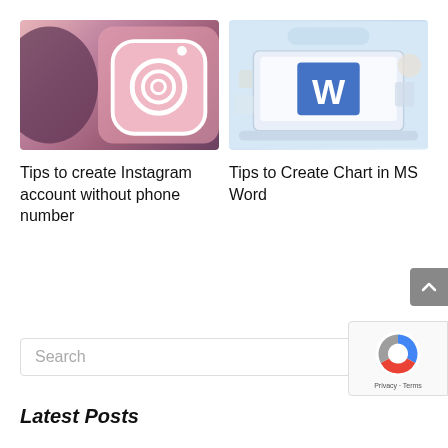[Figure (photo): Instagram app icon on a pink smartphone screen]
[Figure (screenshot): Microsoft Word logo on a laptop illustration with light blue background]
Tips to create Instagram account without phone number
Tips to Create Chart in MS Word
Search
Latest Posts
[Figure (logo): reCAPTCHA badge with Privacy and Terms links]